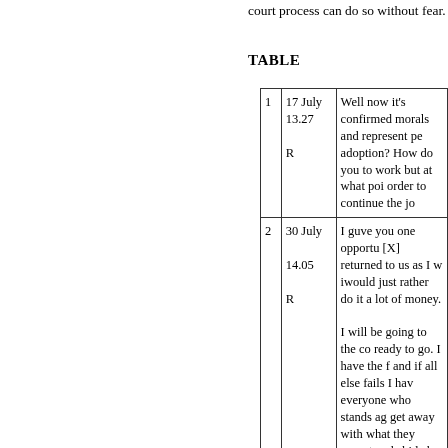court process can do so without fear.
TABLE
|  |  |  |
| --- | --- | --- |
| 1 | 17 July 13.27

R | Well now it's confirmed morals and represent pe adoption? How do you to work but at what poi order to continue the jo |
| 2 | 30 July

14.05

R | I guve you one opportu [X] returned to us as I w iwould just rather do it a lot of money.

I will be going to the co ready to go. I have the f and if all else fails I hav everyone who stands ag get away with what they accept and abide by any money that would be m outway the loss that wil

Threaten me with priso to prison I will make ev I have that you don't. it |